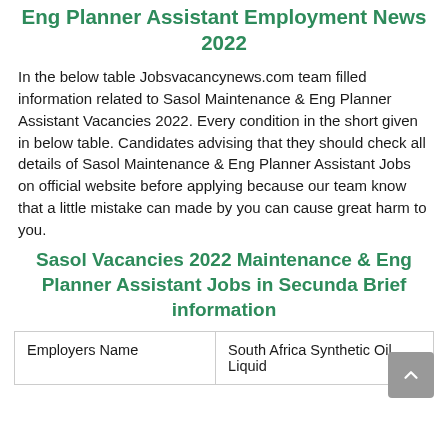Eng Planner Assistant Employment News 2022
In the below table Jobsvacancynews.com team filled information related to Sasol Maintenance & Eng Planner Assistant Vacancies 2022. Every condition in the short given in below table. Candidates advising that they should check all details of Sasol Maintenance & Eng Planner Assistant Jobs on official website before applying because our team know that a little mistake can made by you can cause great harm to you.
Sasol Vacancies 2022 Maintenance & Eng Planner Assistant Jobs in Secunda Brief information
| Employers Name | South Africa Synthetic Oil Liquid |